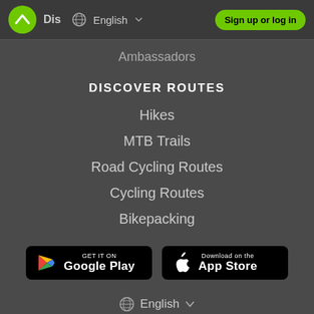Dis  English  Sign up or log in
Ambassadors
DISCOVER ROUTES
Hikes
MTB Trails
Road Cycling Routes
Cycling Routes
Bikepacking
[Figure (screenshot): GET IT ON Google Play button]
[Figure (screenshot): Download on the App Store button]
English
Facebook Twitter Instagram icons